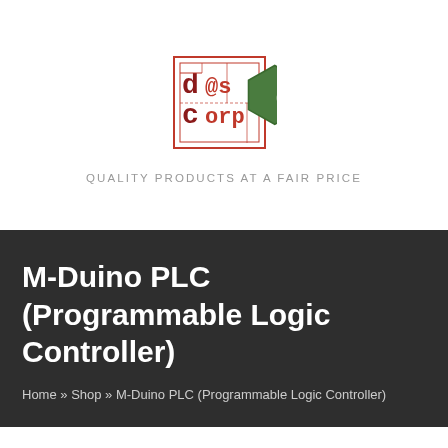[Figure (logo): DDS Corp logo with maze-pattern square and green hexagon with leaf symbol]
QUALITY PRODUCTS AT A FAIR PRICE
M-Duino PLC (Programmable Logic Controller)
Home » Shop » M-Duino PLC (Programmable Logic Controller)